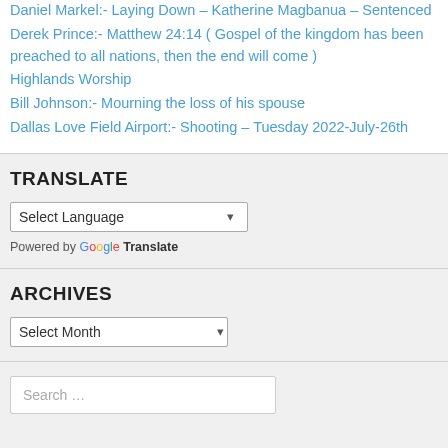Daniel Markel:- Laying Down – Katherine Magbanua – Sentenced
Derek Prince:- Matthew 24:14 ( Gospel of the kingdom has been preached to all nations, then the end will come )
Highlands Worship
Bill Johnson:- Mourning the loss of his spouse
Dallas Love Field Airport:- Shooting – Tuesday 2022-July-26th
TRANSLATE
Select Language
Powered by Google Translate
ARCHIVES
Select Month
Search …